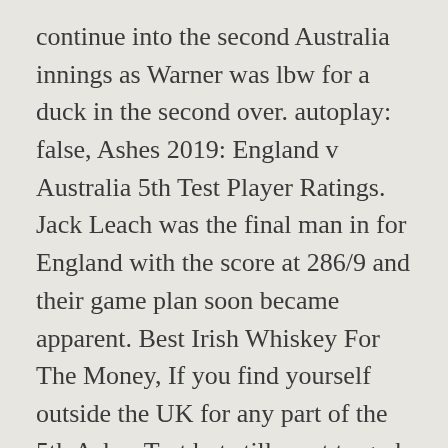continue into the second Australia innings as Warner was lbw for a duck in the second over. autoplay: false, Ashes 2019: England v Australia 5th Test Player Ratings. Jack Leach was the final man in for England with the score at 286/9 and their game plan soon became apparent. Best Irish Whiskey For The Money, If you find yourself outside the UK for any part of the 5th Ashes Test but still want to grab that Sky or Now TV stream, you'll find that access is blocked due to geo restrictions. Aktobe Religion,
\ Telegraph Sport; } Vicious bowling, hitting Wade square on the upper arm.
window._wpemojiSettings =